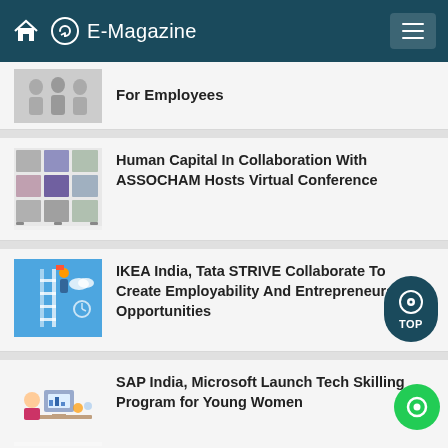E-Magazine
For Employees
Human Capital In Collaboration With ASSOCHAM Hosts Virtual Conference
IKEA India, Tata STRIVE Collaborate To Create Employability And Entrepreneurship Opportunities
SAP India, Microsoft Launch Tech Skilling Program for Young Women
DXC Technology, NASSCOM Collaborate For Employability Skills Program
Lenskart To Hire Over 2000 Employees Across India By 2022